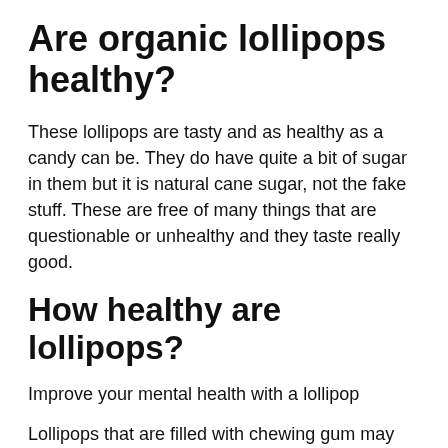Are organic lollipops healthy?
These lollipops are tasty and as healthy as a candy can be. They do have quite a bit of sugar in them but it is natural cane sugar, not the fake stuff. These are free of many things that are questionable or unhealthy and they taste really good.
How healthy are lollipops?
Improve your mental health with a lollipop
Lollipops that are filled with chewing gum may help improve your mood, reduce stress, increase your focus, and work as a pain blocker.